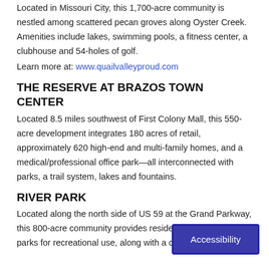Located in Missouri City, this 1,700-acre community is nestled among scattered pecan groves along Oyster Creek. Amenities include lakes, swimming pools, a fitness center, a clubhouse and 54-holes of golf.
Learn more at: www.quailvalleyproud.com
THE RESERVE AT BRAZOS TOWN CENTER
Located 8.5 miles southwest of First Colony Mall, this 550-acre development integrates 180 acres of retail, approximately 620 high-end and multi-family homes, and a medical/professional office park—all interconnected with parks, a trail system, lakes and fountains.
RIVER PARK
Located along the north side of US 59 at the Grand Parkway, this 800-acre community provides residents with extensive parks for recreational use, along with a community center.